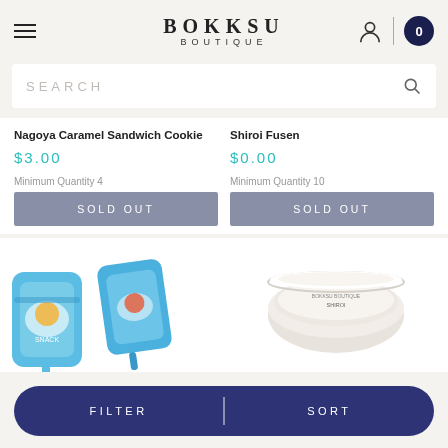BOKKSU BOUTIQUE
SEARCH
Nagoya Caramel Sandwich Cookie
$3.00
Minimum Quantity 4
SOLD OUT
Shiroi Fusen
$0.00
Minimum Quantity 10
SOLD OUT
[Figure (photo): Japanese candy snack products in blue packaging]
[Figure (photo): White creamy product in round container]
FILTER | SORT